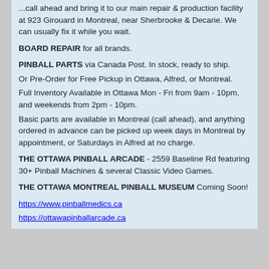...call ahead and bring it to our main repair & production facility at 923 Girouard in Montreal, near Sherbrooke & Decarie. We can usually fix it while you wait.
BOARD REPAIR for all brands.
PINBALL PARTS via Canada Post. In stock, ready to ship.
Or Pre-Order for Free Pickup in Ottawa, Alfred, or Montreal.
Full Inventory Available in Ottawa Mon - Fri from 9am - 10pm, and weekends from 2pm - 10pm.
Basic parts are available in Montreal (call ahead), and anything ordered in advance can be picked up week days in Montreal by appointment, or Saturdays in Alfred at no charge.
THE OTTAWA PINBALL ARCADE - 2559 Baseline Rd featuring 30+ Pinball Machines & several Classic Video Games.
THE OTTAWA MONTREAL PINBALL MUSEUM Coming Soon!
https://www.pinballmedics.ca
https://ottawapinballarcade.ca
Dave W.
MAACCA Super Contributor
Re: Free Play 24hr outdoor Pacman @ Montreal Pinball Medics 923 Girouard